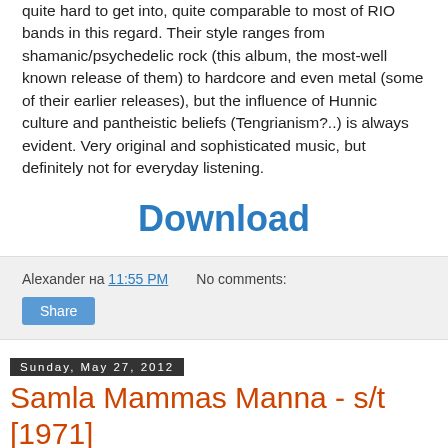quite hard to get into, quite comparable to most of RIO bands in this regard. Their style ranges from shamanic/psychedelic rock (this album, the most-well known release of them) to hardcore and even metal (some of their earlier releases), but the influence of Hunnic culture and pantheistic beliefs (Tengrianism?..) is always evident. Very original and sophisticated music, but definitely not for everyday listening.
Download
Alexander на 11:55 PM   No comments:
Share
Sunday, May 27, 2012
Samla Mammas Manna - s/t [1971]
[Figure (photo): Album cover image, partially visible, dark background with colorful illustration]